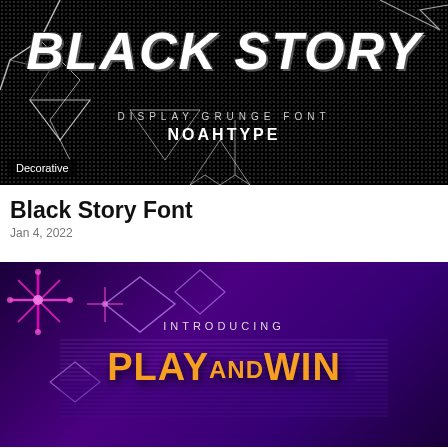[Figure (illustration): Black Story Display Grunge Font promotional banner — black background with grunge noise texture, white cracked geometric lines, bold italic white text 'BLACK STORY' at top, 'DISPLAY GRUNGE FONT' subtitle, 'NOAHTYPE' branding, 'Decorative' category badge at bottom left.]
Black Story Font
Jan 4, 2022
[Figure (illustration): Play and Win font promotional banner — dark purple background with neon pink geometric diamond shapes top left, outlined diamond shapes, 'INTRODUCING' text in small caps, retro horizontal line cityscape silhouette in purple, large bold golden/orange text 'PLAY AND WIN' at bottom.]